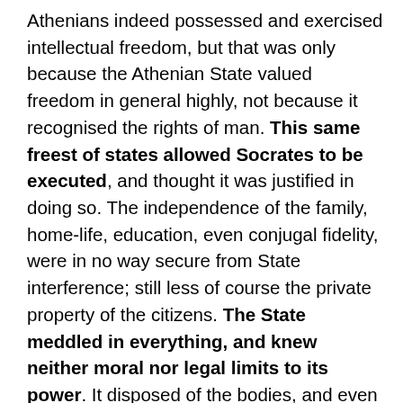Athenians indeed possessed and exercised intellectual freedom, but that was only because the Athenian State valued freedom in general highly, not because it recognised the rights of man. This same freest of states allowed Socrates to be executed, and thought it was justified in doing so. The independence of the family, home-life, education, even conjugal fidelity, were in no way secure from State interference; still less of course the private property of the citizens. The State meddled in everything, and knew neither moral nor legal limits to its power. It disposed of the bodies, and even of the talents of its members. It compelled men to accept office as well as to render military service. The individual must first be dead in the State before he could, by means of the State, be born again to a free and noble life. The absolute power of the State, apart from the influence of ancient customs, had almost no other limits than the following: In the first place, the citizens themselves had a share in the exercise of this power, and lest the despotism of the